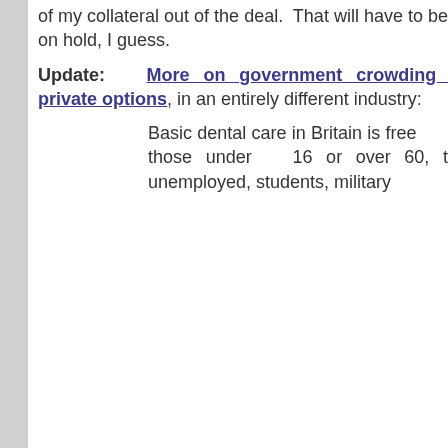of my collateral out of the deal.  That will have to be put on hold, I guess.
Update: More on government crowding out private options, in an entirely different industry:
Basic dental care in Britain is free to those under 16 or over 60, the unemployed, students, military